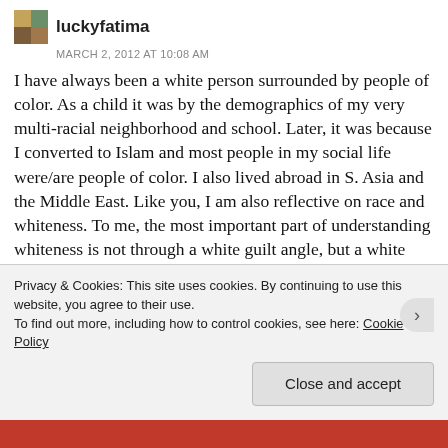luckyfatima
MARCH 2, 2012 AT 10:08 AM
I have always been a white person surrounded by people of color. As a child it was by the demographics of my very multi-racial neighborhood and school. Later, it was because I converted to Islam and most people in my social life were/are people of color. I also lived abroad in S. Asia and the Middle East. Like you, I am also reflective on race and whiteness. To me, the most important part of understanding whiteness is not through a white guilt angle, but a white privilege-white supremacy angle. But many white people don't like thinking about whiteness through the lense of white privilege because it makes us feel guilty, so the two issues can be intertwined. I see two
Privacy & Cookies: This site uses cookies. By continuing to use this website, you agree to their use.
To find out more, including how to control cookies, see here: Cookie Policy
Close and accept